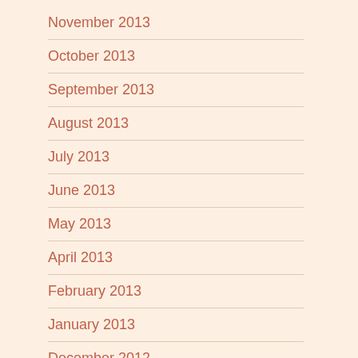November 2013
October 2013
September 2013
August 2013
July 2013
June 2013
May 2013
April 2013
February 2013
January 2013
December 2012
November 2012
October 2012